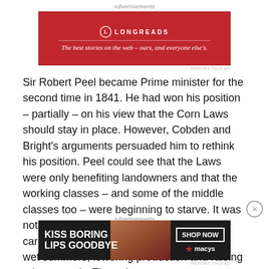Advertisements
[Figure (other): Longreads advertisement banner in red: 'The best stories on the web - ours, and everyone else's.']
Sir Robert Peel became Prime minister for the second time in 1841. He had won his position – partially – on his view that the Corn Laws should stay in place. However, Cobden and Bright's arguments persuaded him to rethink his position. Peel could see that the Laws were only benefiting landowners and that the working classes – and some of the middle classes too – were beginning to starve. It was not sustainable, and revolution was on the cards: the early 1840s had seen a series of wet summers, lowering production and raising prices greatly. Then, the
Advertisements
[Figure (other): Macy's advertisement banner: KISS BORING LIPS GOODBYE, SHOP NOW, macys logo]